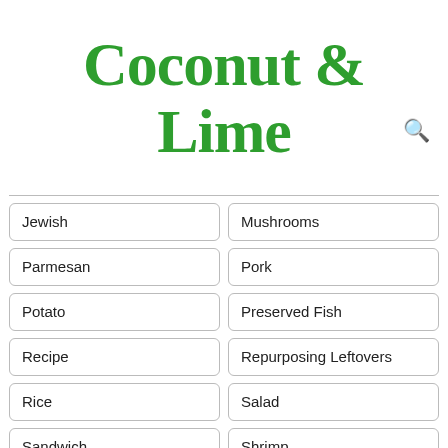Coconut & Lime
Jewish
Mushrooms
Parmesan
Pork
Potato
Preserved Fish
Recipe
Repurposing Leftovers
Rice
Salad
Sandwich
Shrimp
Slow Cooker
Soup